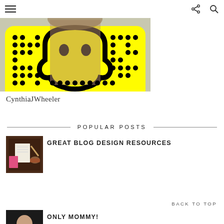≡   share  search (navigation bar)
[Figure (screenshot): Snapchat QR code (snapcode) with a woman's face visible behind the ghost outline, yellow background with black dots pattern]
CynthiaJWheeler
POPULAR POSTS
[Figure (photo): Flat lay photo with notebook, tea, pens and stationery items on dark background]
GREAT BLOG DESIGN RESOURCES
BACK TO TOP
[Figure (photo): Photo of a woman (mommy) in dark setting]
ONLY MOMMY!